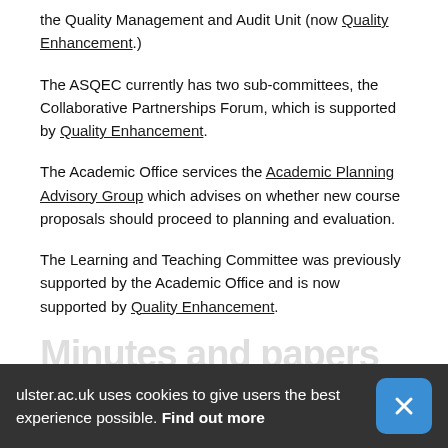the Quality Management and Audit Unit (now Quality Enhancement.)
The ASQEC currently has two sub-committees, the Collaborative Partnerships Forum, which is supported by Quality Enhancement.
The Academic Office services the Academic Planning Advisory Group which advises on whether new course proposals should proceed to planning and evaluation.
The Learning and Teaching Committee was previously supported by the Academic Office and is now supported by Quality Enhancement.
Minutes and papers
ulster.ac.uk uses cookies to give users the best experience possible. Find out more